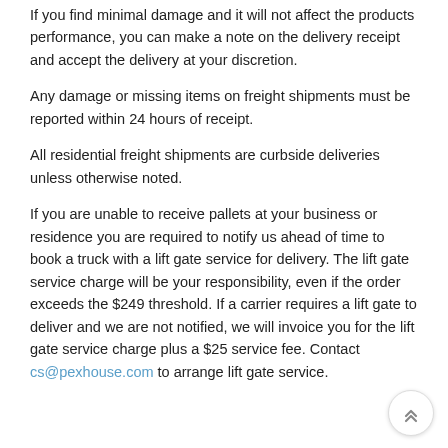If you find minimal damage and it will not affect the products performance, you can make a note on the delivery receipt and accept the delivery at your discretion.
Any damage or missing items on freight shipments must be reported within 24 hours of receipt.
All residential freight shipments are curbside deliveries unless otherwise noted.
If you are unable to receive pallets at your business or residence you are required to notify us ahead of time to book a truck with a lift gate service for delivery. The lift gate service charge will be your responsibility, even if the order exceeds the $249 threshold. If a carrier requires a lift gate to deliver and we are not notified, we will invoice you for the lift gate service charge plus a $25 service fee. Contact cs@pexhouse.com to arrange lift gate service.